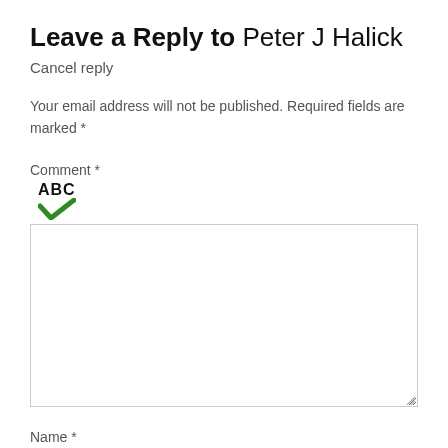Leave a Reply to Peter J Halick
Cancel reply
Your email address will not be published. Required fields are marked *
Comment *
[Figure (illustration): ABC spellcheck icon with green checkmark below the letters ABC]
Name *